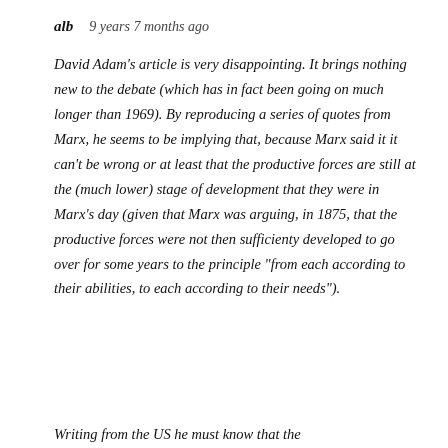alb   9 years 7 months ago
David Adam's article is very disappointing. It brings nothing new to the debate (which has in fact been going on much longer than 1969). By reproducing a series of quotes from Marx, he seems to be implying that, because Marx said it it can't be wrong or at least that the productive forces are still at the (much lower) stage of development that they were in Marx's day (given that Marx was arguing, in 1875, that the productive forces were not then sufficienty developed to go over for some years to the principle "from each according to their abilities, to each according to their needs").
Writing from the US he must know that the